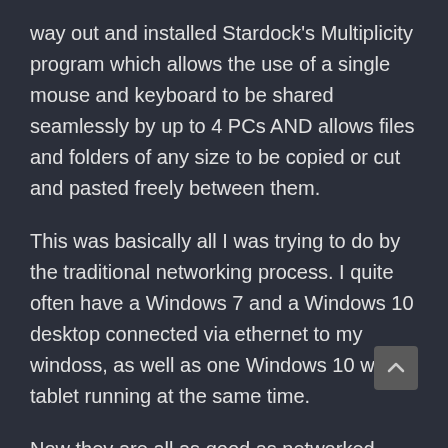way out and installed Stardock's Multiplicity program which allows the use of a single mouse and keyboard to be shared seamlessly by up to 4 PCs AND allows files and folders of any size to be copied or cut and pasted freely between them.
This was basically all I was trying to do by the traditional networking process. I quite often have a Windows 7 and a Windows 10 desktop connected via ethernet to my windoss, as well as one Windows 10 wi-fi tablet running at the same time.
Now they are all as good as networked. This app is free and works perfectly except it doesn't allow folder transfers and file size is limited to MB networ some reason. If I ever have the windowws and windows 7